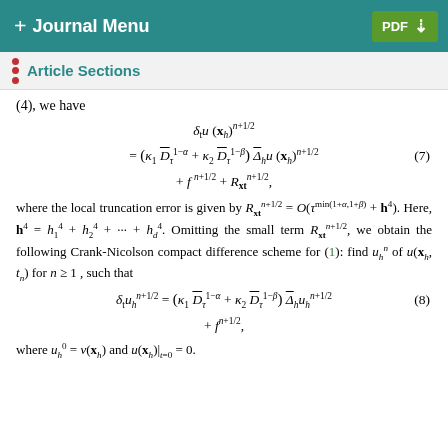+ Journal Menu   PDF ↓
Article Sections
(4), we have
where the local truncation error is given by R^{n+1/2}_{xt} = O(τ^{min(1+α,1+β)} + h^4). Here, h^4 = h_1^4 + h_2^4 + ⋯ + h_d^4. Omitting the small term R^{n+1/2}_{xt}, we obtain the following Crank-Nicolson compact difference scheme for (1): find u_h^n of u(x_h, t_n) for n ≥ 1, such that
where u_h^0 = v(x_h) and u(x_h)|_{t=0} = 0.